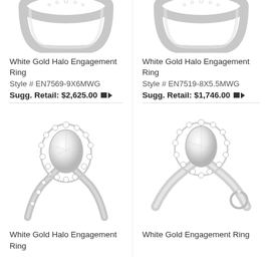[Figure (photo): White gold halo engagement ring (top portion, cropped), left column]
[Figure (photo): White gold halo engagement ring (top portion, cropped), right column]
White Gold Halo Engagement Ring
Style # EN7569-9X6MWG
Sugg. Retail: $2,625.00
White Gold Halo Engagement Ring
Style # EN7519-8X5.5MWG
Sugg. Retail: $1,746.00
[Figure (photo): White gold halo engagement ring with pear-shaped diamond, left column]
[Figure (photo): White gold engagement ring with pear-shaped diamond halo and small solitaire inset, right column]
White Gold Halo Engagement Ring
White Gold Engagement Ring